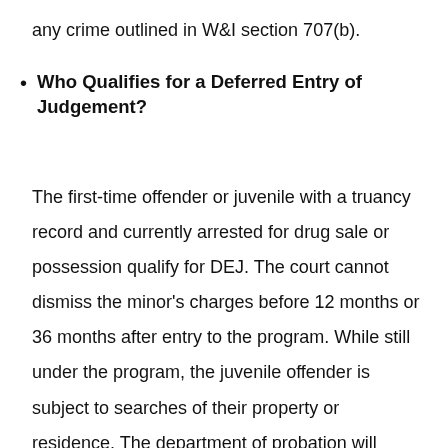any crime outlined in W&I section 707(b).
Who Qualifies for a Deferred Entry of Judgement?
The first-time offender or juvenile with a truancy record and currently arrested for drug sale or possession qualify for DEJ. The court cannot dismiss the minor's charges before 12 months or 36 months after entry to the program. While still under the program, the juvenile offender is subject to searches of their property or residence. The department of probation will impose compulsory